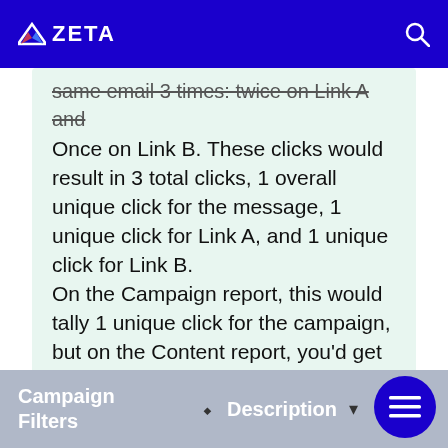ZETA
same email 3 times: twice on Link A and Once on Link B. These clicks would result in 3 total clicks, 1 overall unique click for the message, 1 unique click for Link A, and 1 unique click for Link B. On the Campaign report, this would tally 1 unique click for the campaign, but on the Content report, you'd get 1 unique click for A and 1 unique click for B, which would look amount to 2 unique clicks per link.
| Campaign Filters | Description |
| --- | --- |